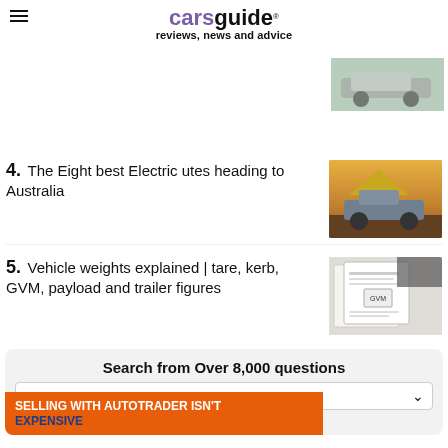carsguide reviews, news and advice
4. The Eight best Electric utes heading to Australia
[Figure (photo): Silver SUV car in a parking lot]
[Figure (photo): Blue electric ute with yellow tent on its roof]
5. Vehicle weights explained | tare, kerb, GVM, payload and trailer figures
[Figure (photo): Close-up of a vehicle manual document showing GVM information]
Search from Over 8,000 questions
SELLING WITH AUTOTRADER ISN'T EXPENSIVE
Sele